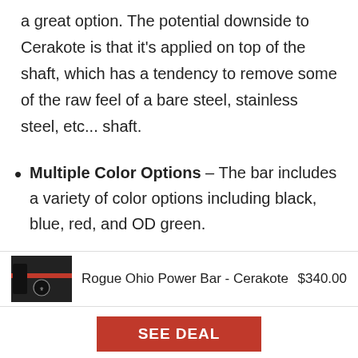a great option. The potential downside to Cerakote is that it's applied on top of the shaft, which has a tendency to remove some of the raw feel of a bare steel, stainless steel, etc... shaft.
Multiple Color Options – The bar includes a variety of color options including black, blue, red, and OD green.
Aggressive Knurling – The knurling on the
[Figure (photo): Product photo of Rogue Ohio Power Bar - Cerakote showing a dark/red barbell against a dark background with a logo medallion]
Rogue Ohio Power Bar - Cerakote    $340.00
SEE DEAL